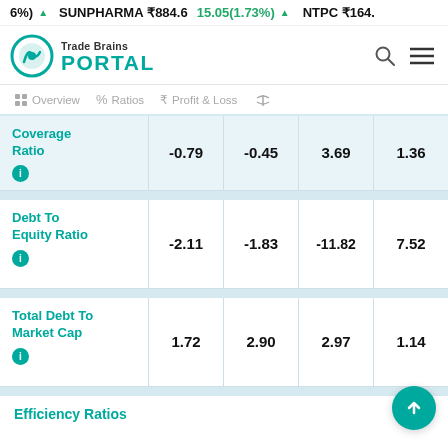6%) ▲  SUNPHARMA ₹884.6  15.05(1.73%) ▲  NTPC ₹164.
[Figure (logo): Trade Brains PORTAL logo with teal circular icon]
| Metric | Col1 | Col2 | Col3 | Col4 |
| --- | --- | --- | --- | --- |
| Coverage Ratio | -0.79 | -0.45 | 3.69 | 1.36 |
| Debt To Equity Ratio | -2.11 | -1.83 | -11.82 | 7.52 |
| Total Debt To Market Cap | 1.72 | 2.90 | 2.97 | 1.14 |
Efficiency Ratios